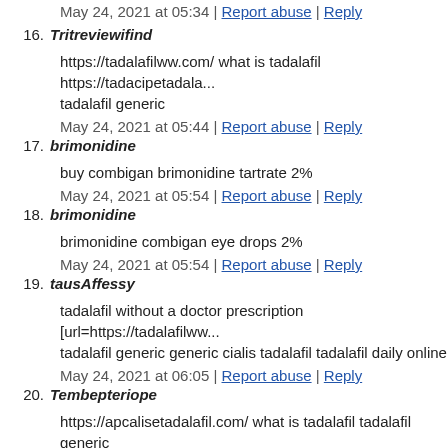May 24, 2021 at 05:34 | Report abuse | Reply
16. Tritreviewifind
https://tadalafilww.com/ what is tadalafil https://tadacipetadala... tadalafil generic
May 24, 2021 at 05:44 | Report abuse | Reply
17. brimonidine
buy combigan brimonidine tartrate 2%
May 24, 2021 at 05:54 | Report abuse | Reply
18. brimonidine
brimonidine combigan eye drops 2%
May 24, 2021 at 05:54 | Report abuse | Reply
19. tausAffessy
tadalafil without a doctor prescription [url=https://tadalafilww... tadalafil generic generic cialis tadalafil tadalafil daily online
May 24, 2021 at 06:05 | Report abuse | Reply
20. Tembepteriope
https://apcalisetadalafil.com/ what is tadalafil tadalafil generic ...